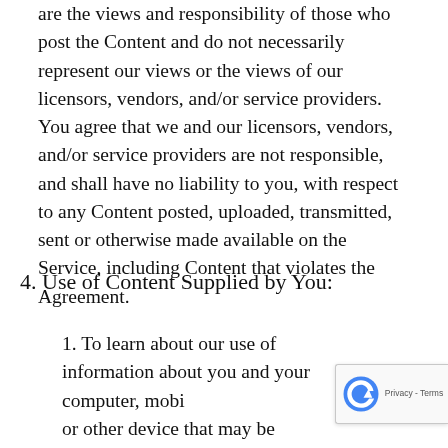are the views and responsibility of those who post the Content and do not necessarily represent our views or the views of our licensors, vendors, and/or service providers. You agree that we and our licensors, vendors, and/or service providers are not responsible, and shall have no liability to you, with respect to any Content posted, uploaded, transmitted, sent or otherwise made available on the Service, including Content that violates the Agreement.
4. Use of Content Supplied by You:
1. To learn about our use of information about you and your computer, mobile or other device that may be collected in connection with your access...